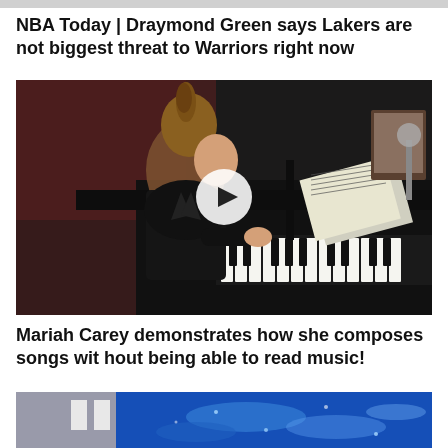NBA Today | Draymond Green says Lakers are not biggest threat to Warriors right now
[Figure (screenshot): Video thumbnail of a woman (Mariah Carey) sitting at a black grand piano, wearing a black leather jacket, with sheet music on the piano stand, and a play button overlay in the center]
Mariah Carey demonstrates how she composes songs wit hout being able to read music!
[Figure (photo): Partial view of a blue shimmering surface, possibly water or a blue dress/fabric, with a grey building or wall in the background]